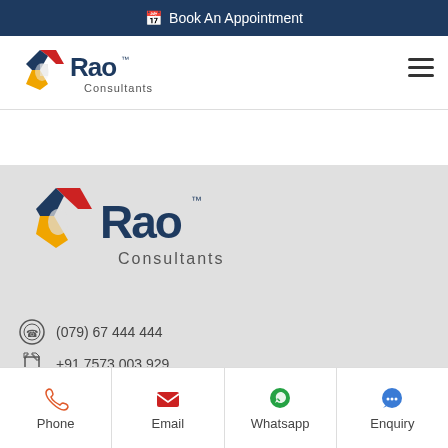📅 Book An Appointment
[Figure (logo): Rao Consultants logo in navigation bar - hexagonal icon with red and yellow colors, dark navy text 'Rao Consultants']
[Figure (logo): Rao Consultants large logo in footer section - hexagonal icon with red and yellow colors, dark navy text 'Rao Consultants']
(079) 67 444 444
+91 7573 003 929
contact@raoconsultants.com
Phone | Email | Whatsapp | Enquiry